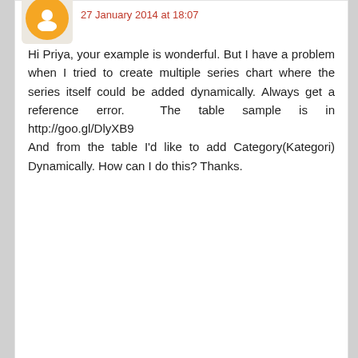27 January 2014 at 18:07
Hi Priya, your example is wonderful. But I have a problem when I tried to create multiple series chart where the series itself could be added dynamically. Always get a reference error. The table sample is in http://goo.gl/DlyXB9
And from the table I'd like to add Category(Kategori) Dynamically. How can I do this? Thanks.
Reply
Unknown
3 April 2014 at 01:07
Hi priya, does the example works for excel 2003 as well? I can export the chart out to excel. I was wondering when updating the named range, do we have to add in the offset function as well?
And how to go about editing the source data